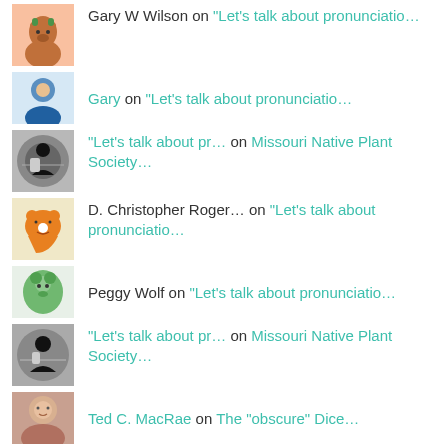Gary W Wilson on “Let’s talk about pronunciatio…
Gary on “Let’s talk about pronunciatio…
“Let’s talk about pr… on Missouri Native Plant Society…
D. Christopher Roger… on “Let’s talk about pronunciatio…
Peggy Wolf on “Let’s talk about pronunciatio…
“Let’s talk about pr… on Missouri Native Plant Society…
Ted C. MacRae on The “obscure” Dice…
Marie on The “obscure” Dice…
SCRIPTURAE NOVAE
I Fear No Weevil